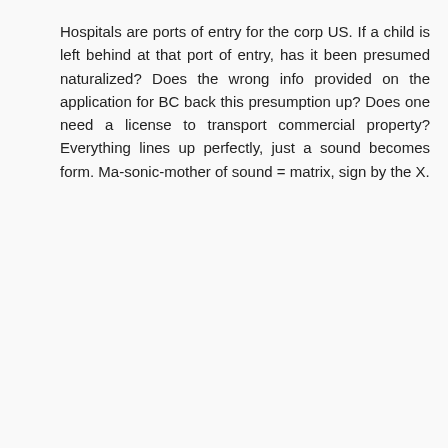Hospitals are ports of entry for the corp US. If a child is left behind at that port of entry, has it been presumed naturalized? Does the wrong info provided on the application for BC back this presumption up? Does one need a license to transport commercial property? Everything lines up perfectly, just a sound becomes form. Ma-sonic-mother of sound = matrix, sign by the X.
cubesphere March 15, 2019 at 3:49 PM
What is TRANSPORTATION?
The removal of goods or persons from one place to another, by a carrier. See Railroad Co. v. Pratt, 22 Wall. 133, 22 L. Ed. 827; Interstate Commerce Coin'n v. Brimson, 154 U. S. 4 17. 14 Sup. Ct. 1125, 38 L. Ed. .1047; Gloucester Ferry Co. v. Pennsylvania, 114 U. S. 100, 5 Sup. Ct. S26, 29 L. Ed. 158. In criminal law. A species of punishment consisting in removing the criminal